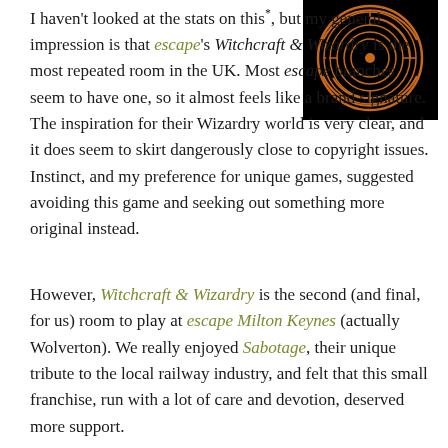[Figure (illustration): A dark black square image featuring an orange/copper colored circular maze or labyrinth design with concentric rings and decorative border elements.]
I haven't looked at the stats on this*, but my general impression is that escape's Witchcraft & Wizardry is the most repeated room in the UK. Most escape branches seem to have one, so it almost feels like a brand signature. The inspiration for their Wizardry world is very clear, and it does seem to skirt dangerously close to copyright issues. Instinct, and my preference for unique games, suggested avoiding this game and seeking out something more original instead.
However, Witchcraft & Wizardry is the second (and final, for us) room to play at escape Milton Keynes (actually Wolverton). We really enjoyed Sabotage, their unique tribute to the local railway industry, and felt that this small franchise, run with a lot of care and devotion, deserved more support.